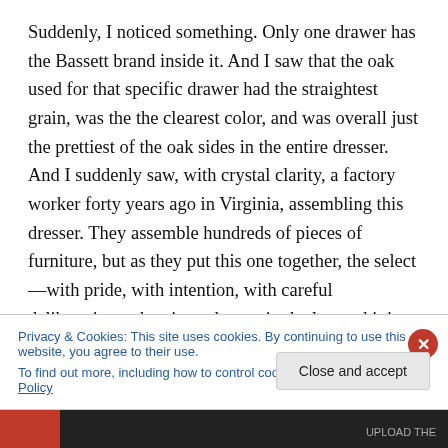Suddenly, I noticed something. Only one drawer has the Bassett brand inside it. And I saw that the oak used for that specific drawer had the straightest grain, was the the clearest color, and was overall just the prettiest of the oak sides in the entire dresser. And I suddenly saw, with crystal clarity, a factory worker forty years ago in Virginia, assembling this dresser. They assemble hundreds of pieces of furniture, but as they put this one together, the select—with pride, with intention, with careful deliberation—the nicest drawer in the lot, and it is that one on which they choose to place the brand. They wanted to leave their
Privacy & Cookies: This site uses cookies. By continuing to use this website, you agree to their use.
To find out more, including how to control cookies, see here: Cookie Policy
Close and accept